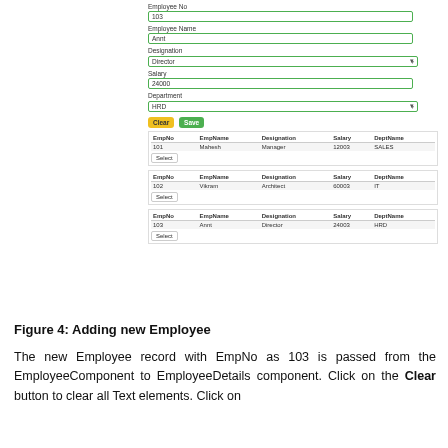[Figure (screenshot): Screenshot of an employee form with fields: Employee No (103), Employee Name (Annt), Designation (Director dropdown), Salary (24000), Department (HRD dropdown), Clear and Save buttons, and three employee table blocks showing records for Mahesh (Manager, 12003, SALES), Vikram (Architect, 60003, IT), and Annt (Director, 24003, HRD), each with a Select button.]
Figure 4: Adding new Employee
The new Employee record with EmpNo as 103 is passed from the EmployeeComponent to EmployeeDetails component. Click on the Clear button to clear all Text elements. Click on